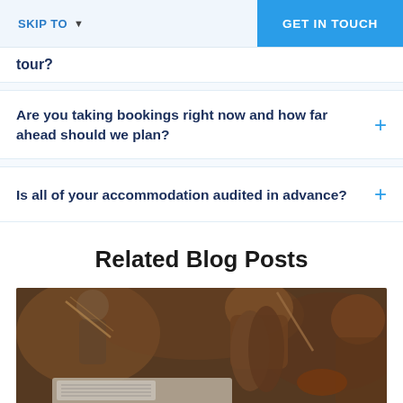SKIP TO  ▾   GET IN TOUCH
tour?
Are you taking bookings right now and how far ahead should we plan?
Is all of your accommodation audited in advance?
Related Blog Posts
[Figure (photo): Orchestra musicians playing violin, blurred background, viewed from behind]